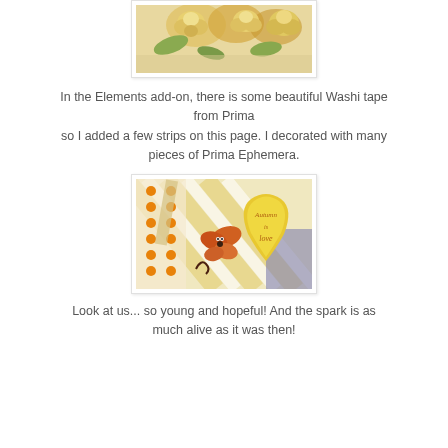[Figure (photo): Close-up photo of cream/yellow roses and green leaves, scrapbook page element]
In the Elements add-on, there is some beautiful Washi tape from Prima so I added a few strips on this page. I decorated with many pieces of Prima Ephemera.
[Figure (photo): Photo of scrapbook page showing washi tape strips with orange dots and diagonal stripes, a butterfly ephemera piece, and a yellow heart-shaped tag reading 'Autumn is love']
Look at us... so young and hopeful!  And the spark is as much alive as it was then!